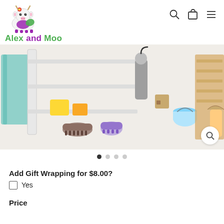[Figure (logo): Alex and Moo brand logo with cartoon cow illustration and colorful text]
[Figure (photo): Product photo showing a wooden dollhouse cleaning set with brushes, buckets, towels and other toy accessories]
Add Gift Wrapping for $8.00?
Yes
Price